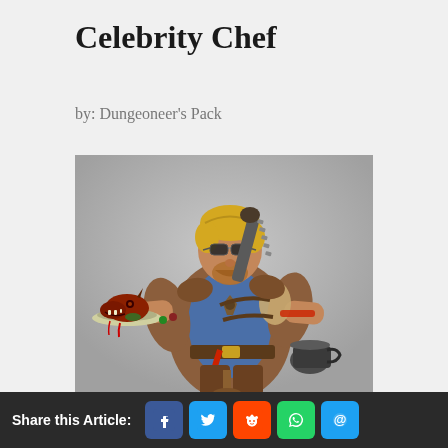Celebrity Chef
by: Dungeoneer's Pack
[Figure (illustration): Fantasy illustration of a burly blonde male celebrity chef character wearing brown leather armor and blue tunic, holding a tray with a cooked dragon head on it in one hand, with a large kitchen appliance/weapon on his back, set against a grey gradient background.]
Share this Article:  [Facebook] [Twitter] [Reddit] [WhatsApp] [Email]